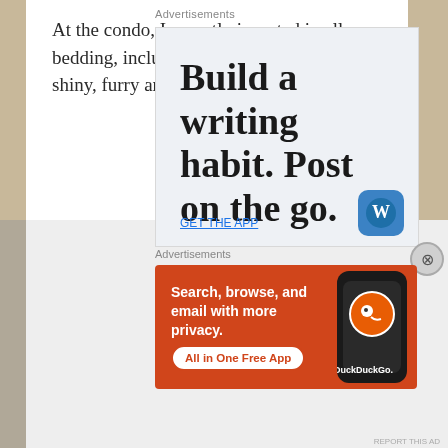At the condo, I recently invested in all new bedding, including throw pillows that sport shiny, furry and sequined textures.
Advertisements
[Figure (screenshot): Advertisement for a writing app: 'Build a writing habit. Post on the go.' with a WordPress-style icon and a link at the bottom, on a light blue-grey background.]
Advertisements
[Figure (screenshot): DuckDuckGo advertisement banner on orange background: 'Search, browse, and email with more privacy. All in One Free App' with a smartphone showing the DuckDuckGo logo.]